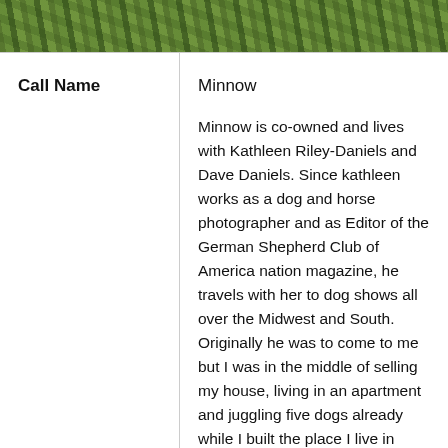[Figure (photo): Outdoor grassy background photo strip at the top of the page]
| Call Name |  |
| --- | --- |
| Call Name | Minnow |
Minnow is co-owned and lives with Kathleen Riley-Daniels and Dave Daniels. Since kathleen works as a dog and horse photographer and as Editor of the German Shepherd Club of America nation magazine, he travels with her to dog shows all over the Midwest and South. Originally he was to come to me but I was in the middle of selling my house, living in an apartment and juggling five dogs already while I built the place I live in now. So Kathleen and Dave agreed to take in the little pup while I got things straightened out. He'd only